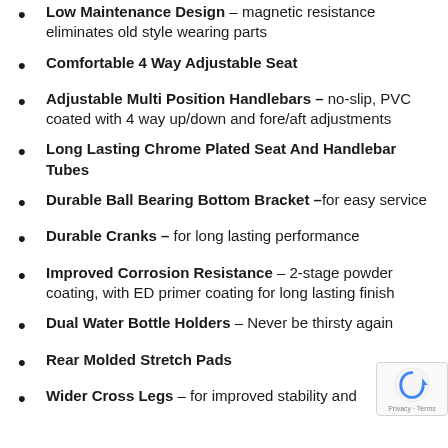Low Maintenance Design – magnetic resistance eliminates old style wearing parts
Comfortable 4 Way Adjustable Seat
Adjustable Multi Position Handlebars – no-slip, PVC coated with 4 way up/down and fore/aft adjustments
Long Lasting Chrome Plated Seat And Handlebar Tubes
Durable Ball Bearing Bottom Bracket –for easy service
Durable Cranks – for long lasting performance
Improved Corrosion Resistance – 2-stage powder coating, with ED primer coating for long lasting finish
Dual Water Bottle Holders – Never be thirsty again
Rear Molded Stretch Pads
Wider Cross Legs – for improved stability and